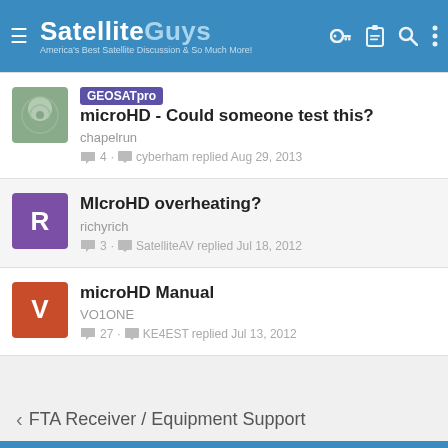SatelliteGuys — America's Best Satellite Discussion & So Much More!
GEOSATpro microHD - Could someone test this? — chapelrun — 4 replies — cyberham replied Aug 29, 2013
MIcroHD overheating? — richyrich — 3 replies — SatelliteAV replied Jul 18, 2012
microHD Manual — VO1ONE — 27 replies — KE4EST replied Jul 13, 2012
‹ FTA Receiver / Equipment Support